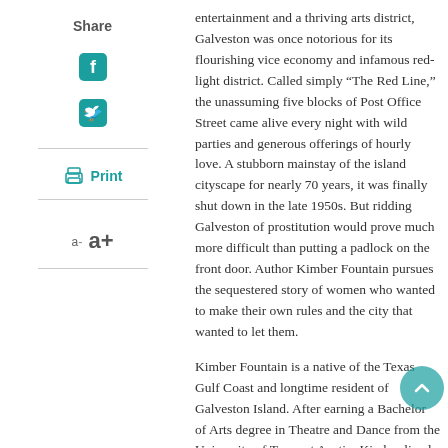Share
Print
a- a+
entertainment and a thriving arts district, Galveston was once notorious for its flourishing vice economy and infamous red-light district. Called simply “The Red Line,” the unassuming five blocks of Post Office Street came alive every night with wild parties and generous offerings of hourly love. A stubborn mainstay of the island cityscape for nearly 70 years, it was finally shut down in the late 1950s. But ridding Galveston of prostitution would prove much more difficult than putting a padlock on the front door. Author Kimber Fountain pursues the sequestered story of women who wanted to make their own rules and the city that wanted to let them.
Kimber Fountain is a native of the Texas Gulf Coast and longtime resident of Galveston Island. After earning a Bachelor of Arts degree in Theatre and Dance from the University of Texas at Austin, Kimber lived in Chicago for several years before returning to Texas and making her home in Galveston, where she discovered a love for the city’s rich history. Her professional literary career began as a writer for “The Island Guide,” after which she went on to serve as the editor-in-chief and feature writer of “Galveston Monthly” for